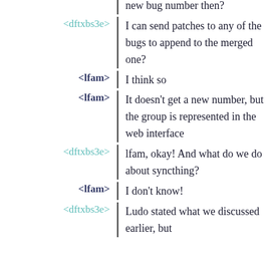new bug number then?
<dftxbs3e>: I can send patches to any of the bugs to append to the merged one?
<lfam>: I think so
<lfam>: It doesn't get a new number, but the group is represented in the web interface
<dftxbs3e>: lfam, okay! And what do we do about syncthing?
<lfam>: I don't know!
<dftxbs3e>: Ludo stated what we discussed earlier, but